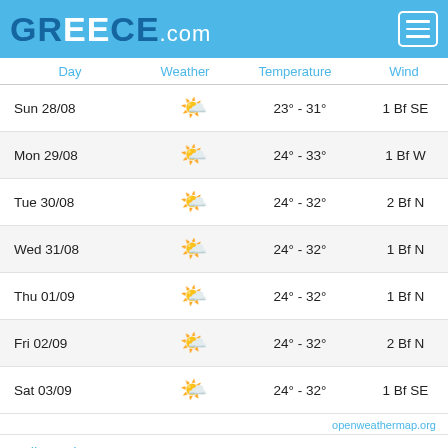GREECE.com
| Day | Weather | Temperature | Wind |
| --- | --- | --- | --- |
| Sun 28/08 | ☀ | 23° - 31° | 1 Bf SE |
| Mon 29/08 | ☀ | 24° - 33° | 1 Bf W |
| Tue 30/08 | ☀ | 24° - 32° | 2 Bf N |
| Wed 31/08 | ☀ | 24° - 32° | 1 Bf N |
| Thu 01/09 | ☀ | 24° - 32° | 1 Bf N |
| Fri 02/09 | ☀ | 24° - 32° | 2 Bf N |
| Sat 03/09 | ☀ | 24° - 32° | 1 Bf SE |
openweathermap.org
Fyli Hotels